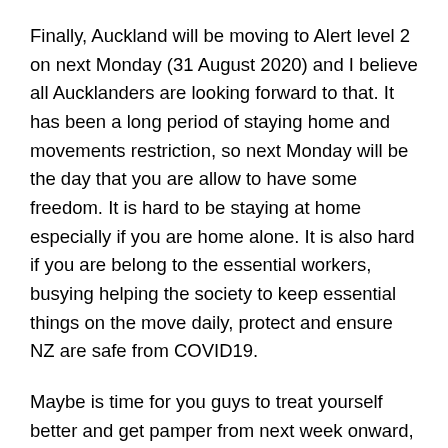Finally, Auckland will be moving to Alert level 2 on next Monday (31 August 2020) and I believe all Aucklanders are looking forward to that. It has been a long period of staying home and movements restriction, so next Monday will be the day that you are allow to have some freedom. It is hard to be staying at home especially if you are home alone. It is also hard if you are belong to the essential workers, busying helping the society to keep essential things on the move daily, protect and ensure NZ are safe from COVID19.
Maybe is time for you guys to treat yourself better and get pamper from next week onward, by coming to visit me for a session. I will ensure you that you will be in my good hands and get rejuvenate after the session with me. Though my service under COVID19 Level 2 is not the normal service, you can be sure that it still have the